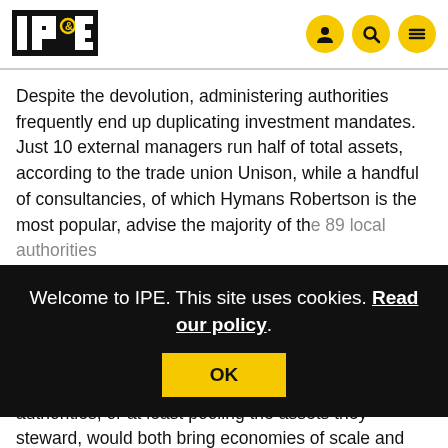IPE logo and navigation icons
Despite the devolution, administering authorities frequently end up duplicating investment mandates. Just 10 external managers run half of total assets, according to the trade union Unison, while a handful of consultancies, of which Hymans Robertson is the most popular, advise the majority of the 89 local authorities
Welcome to IPE. This site uses cookies. Read our policy.
OK
years now, national government has wanted more. proposing that a cut in the number of administering authorities, or at least pooling the assets they steward, would both bring economies of scale and